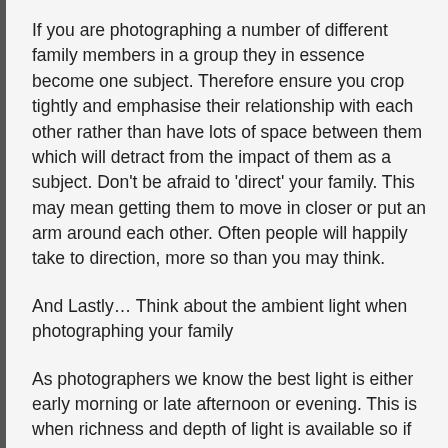If you are photographing a number of different family members in a group they in essence become one subject. Therefore ensure you crop tightly and emphasise their relationship with each other rather than have lots of space between them which will detract from the impact of them as a subject. Don't be afraid to 'direct' your family. This may mean getting them to move in closer or put an arm around each other. Often people will happily take to direction, more so than you may think.
And Lastly… Think about the ambient light when photographing your family
As photographers we know the best light is either early morning or late afternoon or evening. This is when richness and depth of light is available so if possible try